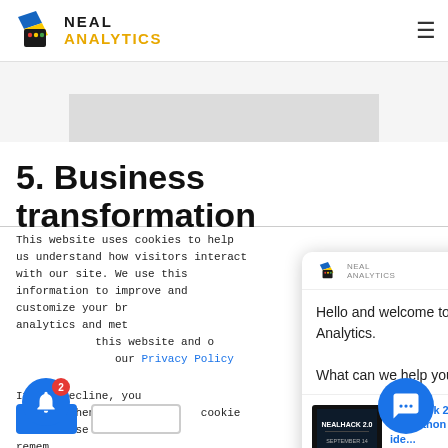NEAL ANALYTICS
[Figure (screenshot): Gray banner area with lighter gray rectangle inside]
5. Business transformation
This website uses cookies to help us understand how visitors interact with our site. We use this information to improve and customize your browsing experience and analytics and metrics about our visitors on this website and other media. To find out more about our Privacy Policy
[Figure (screenshot): Chat popup with Neal Analytics logo, close X button, greeting text 'Hello and welcome to Neal Analytics. What can we help you with?' and a notification card for 'NealHack 2.0 - A Hackathon where ide...' with thumbnail and '1 day ago']
If you decline, your information won't be tracked when you visit this website. A single cookie will be used in your browser to remember your preference not to be tracked.